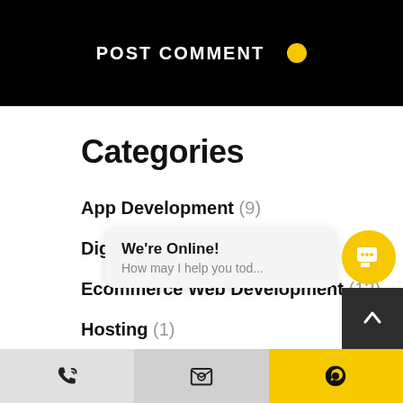[Figure (screenshot): Black banner with POST COMMENT button and yellow dot]
Categories
App Development (9)
Digital Marketing (20)
Ecommerce Web Development (12)
Hosting (1)
Infographics (...)
Mobile App D...
Online Marketing (14)
PPC (6)
[Figure (screenshot): We're Online! How may I help you tod... chat popup with yellow chat icon bubble]
Phone icon | Email icon | WhatsApp icon